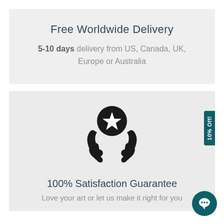Free Worldwide Delivery
5-10 days delivery from US, Canada, UK, Europe or Australia
[Figure (illustration): Hands holding a circle with a star inside — satisfaction/quality guarantee icon]
100% Satisfaction Guarantee
Love your art or let us make it right for you